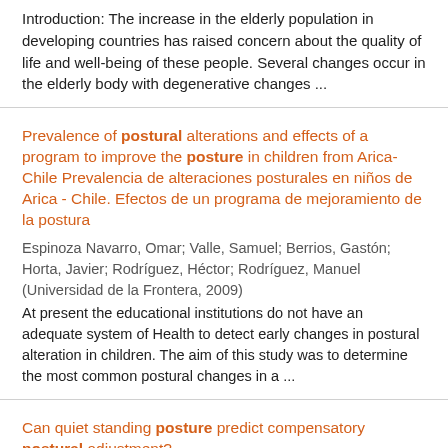Introduction: The increase in the elderly population in developing countries has raised concern about the quality of life and well-being of these people. Several changes occur in the elderly body with degenerative changes ...
Prevalence of postural alterations and effects of a program to improve the posture in children from Arica-Chile Prevalencia de alteraciones posturales en niños de Arica - Chile. Efectos de un programa de mejoramiento de la postura
Espinoza Navarro, Omar; Valle, Samuel; Berrios, Gastón; Horta, Javier; Rodríguez, Héctor; Rodríguez, Manuel (Universidad de la Frontera, 2009)
At present the educational institutions do not have an adequate system of Health to detect early changes in postural alteration in children. The aim of this study was to determine the most common postural changes in a ...
Can quiet standing posture predict compensatory postural adjustment?